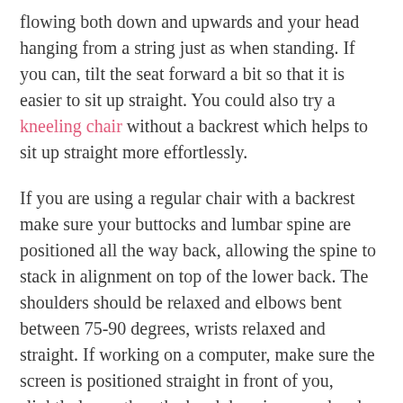flowing both down and upwards and your head hanging from a string just as when standing. If you can, tilt the seat forward a bit so that it is easier to sit up straight. You could also try a kneeling chair without a backrest which helps to sit up straight more effortlessly.
If you are using a regular chair with a backrest make sure your buttocks and lumbar spine are positioned all the way back, allowing the spine to stack in alignment on top of the lower back. The shoulders should be relaxed and elbows bent between 75-90 degrees, wrists relaxed and straight. If working on a computer, make sure the screen is positioned straight in front of you, slightly lower than the head, keeping your head straight and moving your eyes instead of your head to read.
Lying posture is also important. Its best for our spine to lay on our back with a small pillow under the head. If you are a side sleeper, place a medium pillow under your head to